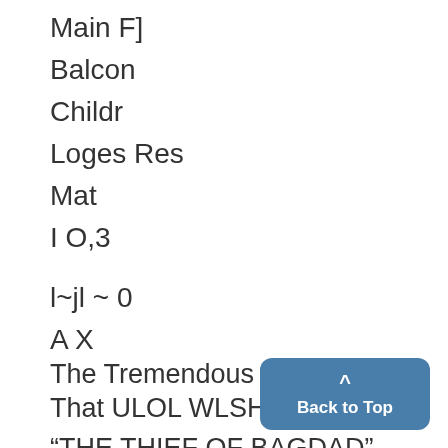Main F]
Balcon
Childr
Loges Res
Mat
I O,3
l~jl ~ 0
A X
The Tremendous Creation of That ULOL WLSH
"THE THIEF OF BAGDAD"
No payinlg cast of aniil)cure pre months can boast of a better b